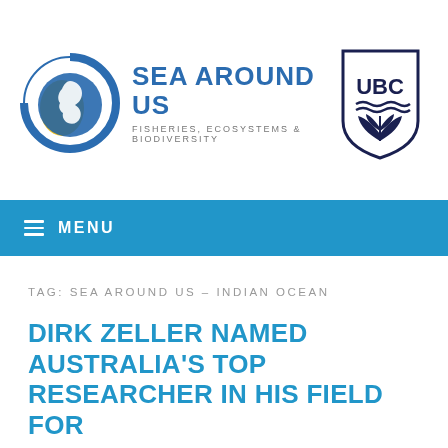[Figure (logo): Sea Around Us circular logo with fish and globe in blue and yellow]
SEA AROUND US
FISHERIES, ECOSYSTEMS & BIODIVERSITY
[Figure (logo): UBC (University of British Columbia) shield logo in dark navy]
≡ MENU
TAG: SEA AROUND US – INDIAN OCEAN
DIRK ZELLER NAMED AUSTRALIA'S TOP RESEARCHER IN HIS FIELD FOR